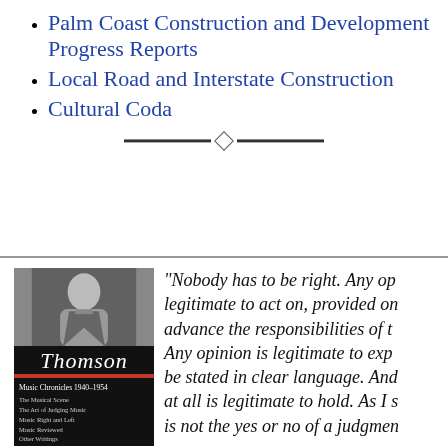Palm Coast Construction and Development Progress Reports
Local Road and Interstate Construction
Cultural Coda
[Figure (illustration): Decorative horizontal divider with diamond center ornament and double lines on each side]
[Figure (photo): Book cover: Thomson Music Chronicles 1940-1954, showing black and white photo of a man, cursive Thomson author name, red bar, and subtitle listing: The Musical Scene, The Art of Judging Music, Music Right and Left, Music Reviewed, Other Writings]
“Nobody has to be right. Any op legitimate to act on, provided on advance the responsibilities of t Any opinion is legitimate to exp be stated in clear language. And at all is legitimate to hold. As I s is not the yes or no of a judgmen